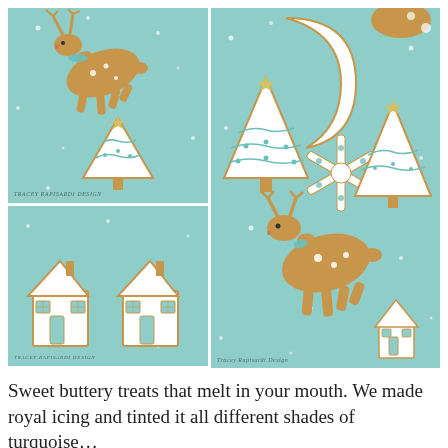[Figure (photo): Three-panel photo collage of Christmas sugar cookies decorated with white and turquoise royal icing on a teal/turquoise background. Top-left: reindeer cookie and Christmas tree cookie. Bottom-left: two gingerbread house cookies. Right (large): close-up of multiple cookies including moon crescent, snowflake, Christmas trees, reindeer, and house cookies. Watermark 'Tracey Rapisardi Design' visible in corners.]
Sweet buttery treats that melt in your mouth. We made royal icing and tinted it all different shades of turquoise...